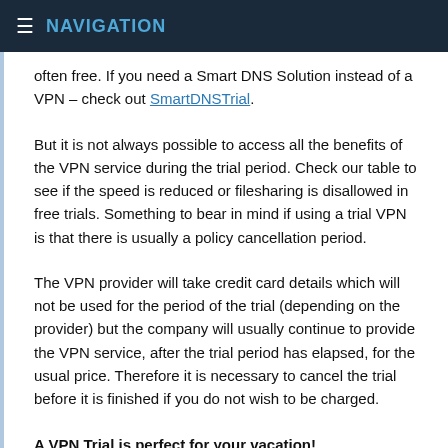NAVIGATION
often free. If you need a Smart DNS Solution instead of a VPN – check out SmartDNSTrial.
But it is not always possible to access all the benefits of the VPN service during the trial period. Check our table to see if the speed is reduced or filesharing is disallowed in free trials. Something to bear in mind if using a trial VPN is that there is usually a policy cancellation period.
The VPN provider will take credit card details which will not be used for the period of the trial (depending on the provider) but the company will usually continue to provide the VPN service, after the trial period has elapsed, for the usual price. Therefore it is necessary to cancel the trial before it is finished if you do not wish to be charged.
A VPN Trial is perfect for your vacation!
If you just want to watch Netflix, Hulu, HBO, BBC or any other big video on demand service, you need a IP from your homecountry. If your vacation is less than 30 days, you can for example get a VPN Account at ExpressVPN, watch your favorite movies while